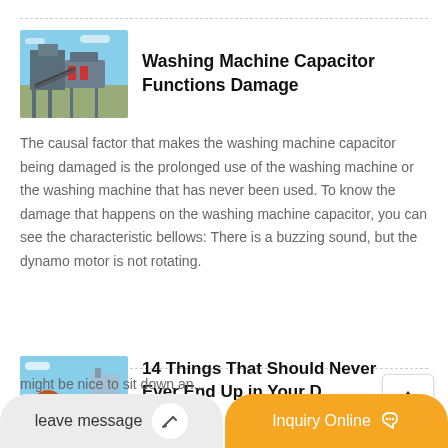[Figure (photo): Industrial washing/crushing machine equipment photo]
Washing Machine Capacitor Functions Damage
The causal factor that makes the washing machine capacitor being damaged is the prolonged use of the washing machine or the washing machine that has never been used. To know the damage that happens on the washing machine capacitor, you can see the characteristic bellows: There is a buzzing sound, but the dynamo motor is not rotating.
[Figure (photo): Industrial rotary drum equipment photo]
14 Things That Should Never Ever End Up in Your D...
might be nice to sit down an...